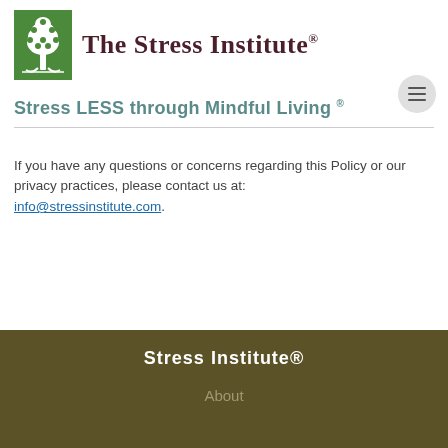[Figure (logo): The Stress Institute logo: green square with white tree illustration, beside the text 'The Stress Institute®' in dark maroon serif font]
Stress LESS through Mindful Living ®
If you have any questions or concerns regarding this Policy or our privacy practices, please contact us at: info@stressinstitute.com.
Stress Institute®
About